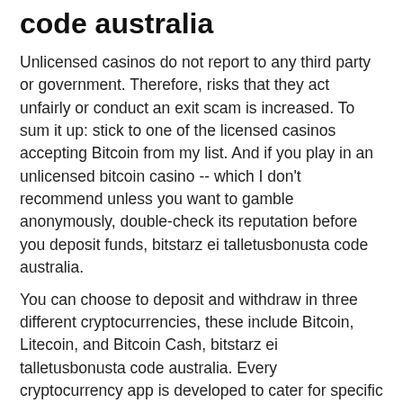code australia
Unlicensed casinos do not report to any third party or government. Therefore, risks that they act unfairly or conduct an exit scam is increased. To sum it up: stick to one of the licensed casinos accepting Bitcoin from my list. And if you play in an unlicensed bitcoin casino -- which I don't recommend unless you want to gamble anonymously, double-check its reputation before you deposit funds, bitstarz ei talletusbonusta code australia.
You can choose to deposit and withdraw in three different cryptocurrencies, these include Bitcoin, Litecoin, and Bitcoin Cash, bitstarz ei talletusbonusta code australia. Every cryptocurrency app is developed to cater for specific uses with some having more than one functionality and even are cross-platform compatible. With thousands of options available today, it can be a bit